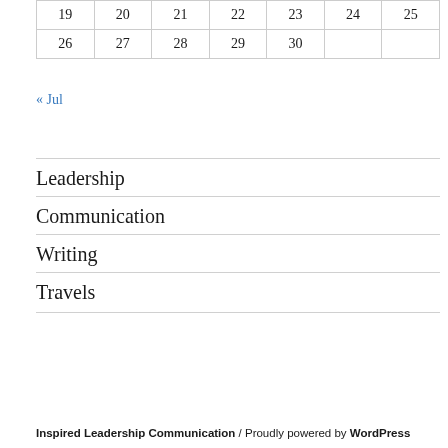| 19 | 20 | 21 | 22 | 23 | 24 | 25 |
| 26 | 27 | 28 | 29 | 30 |  |  |
« Jul
Leadership
Communication
Writing
Travels
Inspired Leadership Communication  /  Proudly powered by WordPress